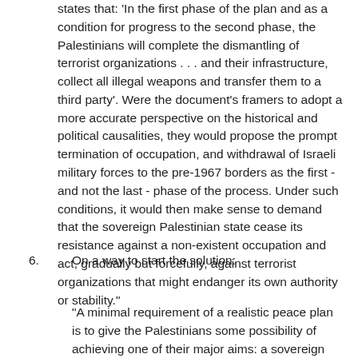states that: 'In the first phase of the plan and as a condition for progress to the second phase, the Palestinians will complete the dismantling of terrorist organizations . . . and their infrastructure, collect all illegal weapons and transfer them to a third party'. Were the document's framers to adopt a more accurate perspective on the historical and political causalities, they would propose the prompt termination of occupation, and withdrawal of Israeli military forces to the pre-1967 borders as the first - and not the last - phase of the process. Under such conditions, it would then make sense to demand that the sovereign Palestinian state cease its resistance against a non-existent occupation and act, gradually but forcefully, against terrorist organizations that might endanger its own authority or stability."
6. On a way to start the solution:
"A minimal requirement of a realistic peace plan is to give the Palestinians some possibility of achieving one of their major aims: a sovereign state over 22 per cent